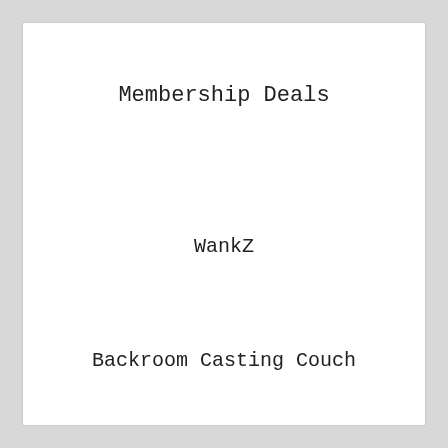Membership Deals
WankZ
Backroom Casting Couch